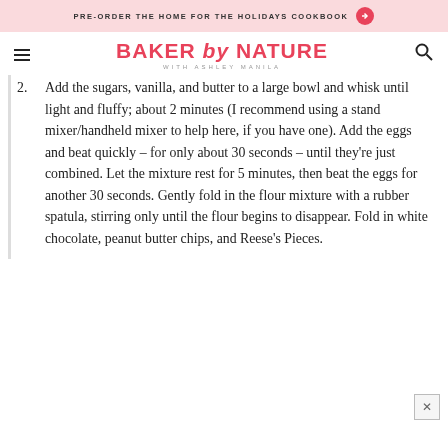PRE-ORDER THE HOME FOR THE HOLIDAYS COOKBOOK
BAKER by NATURE WITH ASHLEY MANILA
2. Add the sugars, vanilla, and butter to a large bowl and whisk until light and fluffy; about 2 minutes (I recommend using a stand mixer/handheld mixer to help here, if you have one). Add the eggs and beat quickly – for only about 30 seconds – until they're just combined. Let the mixture rest for 5 minutes, then beat the eggs for another 30 seconds. Gently fold in the flour mixture with a rubber spatula, stirring only until the flour begins to disappear. Fold in white chocolate, peanut butter chips, and Reese's Pieces.